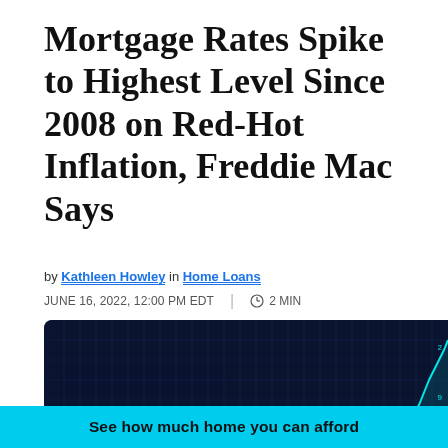Mortgage Rates Spike to Highest Level Since 2008 on Red-Hot Inflation, Freddie Mac Says
by Kathleen Howley in Home Loans
JUNE 16, 2022, 12:00 PM EDT  2 MIN
[Figure (photo): Photo of a large red percentage sign symbol against a dark blue financial chart background with rising teal line graph]
See how much home you can afford